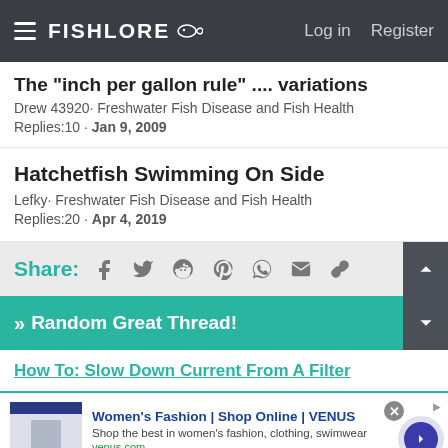FishLore | Log in | Register
The "inch per gallon rule" .... variations
Drew 43920· Freshwater Fish Disease and Fish Health
Replies:10 · Jan 9, 2009
Hatchetfish Swimming On Side
Lefky· Freshwater Fish Disease and Fish Health
Replies:20 · Apr 4, 2019
Share:
» Random Great Thread!
How To: Slow Down Current From A Filter
Women's Fashion | Shop Online | VENUS
Shop the best in women's fashion, clothing, swimwear
venus.com